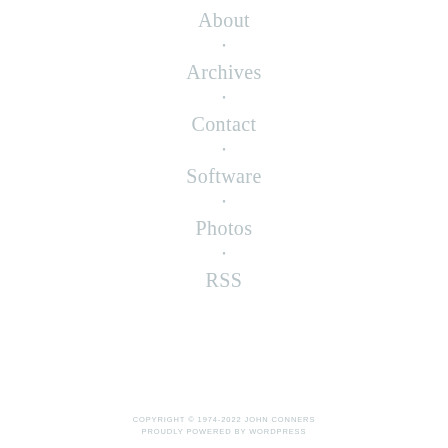About
Archives
Contact
Software
Photos
RSS
COPYRIGHT © 1974-2022 JOHN CONNERS
PROUDLY POWERED BY WORDPRESS